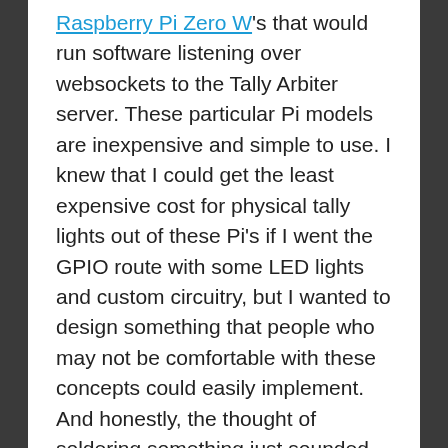Raspberry Pi Zero W's that would run software listening over websockets to the Tally Arbiter server. These particular Pi models are inexpensive and simple to use. I knew that I could get the least expensive cost for physical tally lights out of these Pi's if I went the GPIO route with some LED lights and custom circuitry, but I wanted to design something that people who may not be comfortable with these concepts could easily implement. And honestly, the thought of soldering something just sounded like something I'd have to possibly maintain down the road. So, I used the blink(1) USB lights by ThingM.
I first started experimenting with these USB lights about a year ago when I created a silent